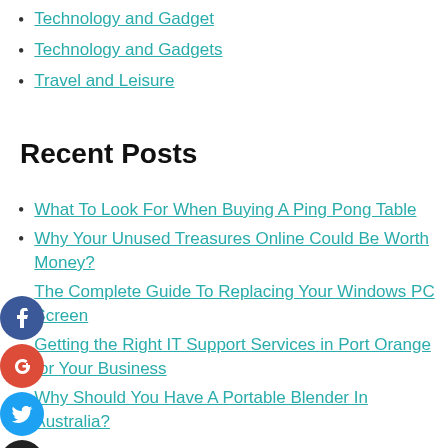Technology and Gadget
Technology and Gadgets
Travel and Leisure
Recent Posts
What To Look For When Buying A Ping Pong Table
Why Your Unused Treasures Online Could Be Worth Money?
The Complete Guide To Replacing Your Windows PC Screen
Getting the Right IT Support Services in Port Orange for Your Business
Why Should You Have A Portable Blender In Australia?